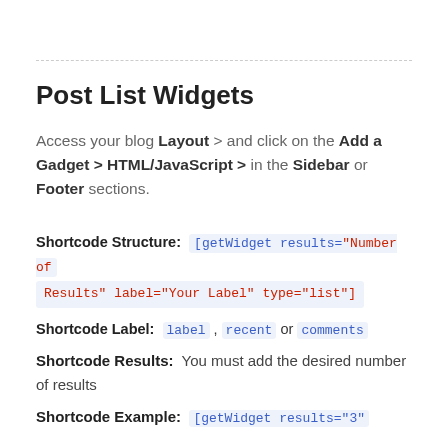Post List Widgets
Access your blog Layout > and click on the Add a Gadget > HTML/JavaScript > in the Sidebar or Footer sections.
Shortcode Structure:  [getWidget results="Number of Results" label="Your Label" type="list"]
Shortcode Label:  label , recent or comments
Shortcode Results:  You must add the desired number of results
Shortcode Example:  [getWidget results="3"